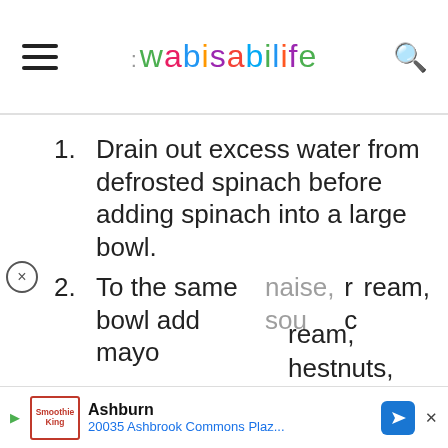the wabi sabi life
Drain out excess water from defrosted spinach before adding spinach into a large bowl.
To the same bowl add mayonnaise, sour cream, chestnuts, [other] ingredients [to] ensure that [combined].
[Figure (screenshot): Video player overlay with black side bars, gray center and cyan triangular play/info icon on gray background]
Ashburn 20035 Ashbrook Commons Plaz...